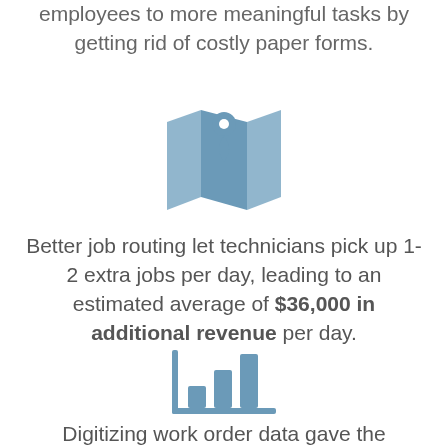employees to more meaningful tasks by getting rid of costly paper forms.
[Figure (illustration): Blue map/location pin icon]
Better job routing let technicians pick up 1-2 extra jobs per day, leading to an estimated average of $36,000 in additional revenue per day.
[Figure (illustration): Blue bar chart icon]
Digitizing work order data gave the